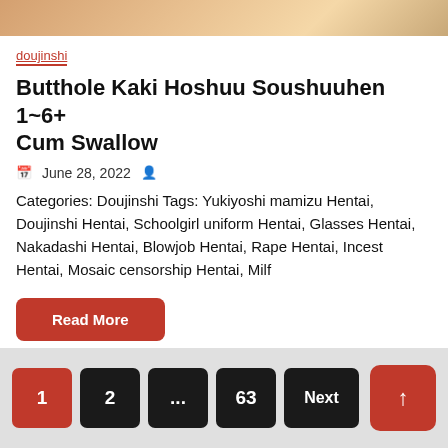[Figure (illustration): Partial cropped anime/manga illustration at top of page]
doujinshi
Butthole Kaki Hoshuu Soushuuhen 1~6+ Cum Swallow
June 28, 2022
Categories: Doujinshi Tags: Yukiyoshi mamizu Hentai, Doujinshi Hentai, Schoolgirl uniform Hentai, Glasses Hentai, Nakadashi Hentai, Blowjob Hentai, Rape Hentai, Incest Hentai, Mosaic censorship Hentai, Milf
Read More
1  2  ...  63  Next  ↑